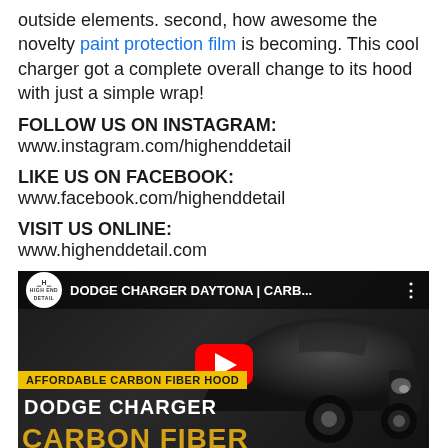outside elements. second, how awesome the novelty paint protection film is becoming. This cool charger got a complete overall change to its hood with just a simple wrap!
FOLLOW US ON INSTAGRAM:
www.instagram.com/highenddetail
LIKE US ON FACEBOOK:
www.facebook.com/highenddetail
VISIT US ONLINE:
www.highenddetail.com
[Figure (screenshot): YouTube video thumbnail for 'DODGE CHARGER DAYTONA | CARB...' with logo, play button, and text overlays reading 'AFFORDABLE CARBON FIBER HOOD', 'DODGE CHARGER', 'CARBON FIBER']